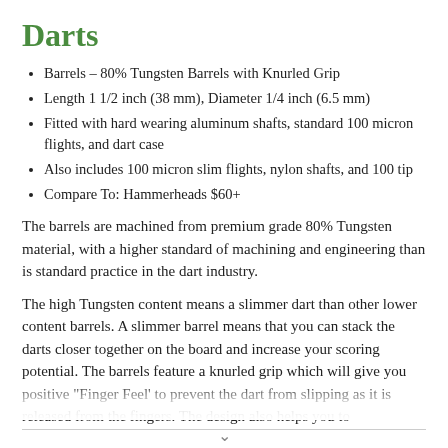Darts
Barrels – 80% Tungsten Barrels with Knurled Grip
Length 1 1/2 inch (38 mm), Diameter 1/4 inch (6.5 mm)
Fitted with hard wearing aluminum shafts, standard 100 micron flights, and dart case
Also includes 100 micron slim flights, nylon shafts, and 100 tip
Compare To: Hammerheads $60+
The barrels are machined from premium grade 80% Tungsten material, with a higher standard of machining and engineering than is standard practice in the dart industry.
The high Tungsten content means a slimmer dart than other lower content barrels. A slimmer barrel means that you can stack the darts closer together on the board and increase your scoring potential. The barrels feature a knurled grip which will give you positive "Finger Feel' to prevent the dart from slipping as it is released from the fingers. The design also helps you to